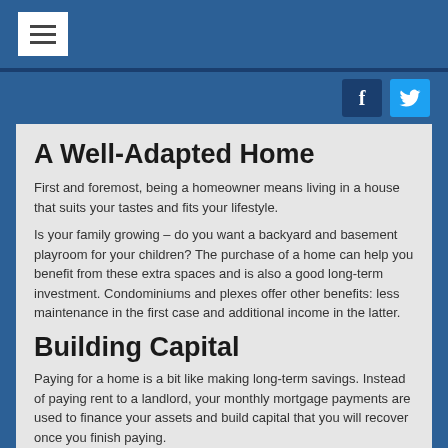≡ (hamburger menu button)
[Figure (other): Social media icons: Facebook (f) and Twitter (bird) buttons in blue tones]
A Well-Adapted Home
First and foremost, being a homeowner means living in a house that suits your tastes and fits your lifestyle.
Is your family growing – do you want a backyard and basement playroom for your children? The purchase of a home can help you benefit from these extra spaces and is also a good long-term investment. Condominiums and plexes offer other benefits: less maintenance in the first case and additional income in the latter.
Building Capital
Paying for a home is a bit like making long-term savings. Instead of paying rent to a landlord, your monthly mortgage payments are used to finance your assets and build capital that you will recover once you finish paying.
A Profitable Investment